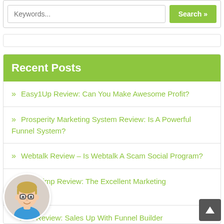[Figure (screenshot): Search box with 'Keywords...' placeholder and green 'Search »' button]
Recent Posts
Easy1Up Review: Can You Make Awesome Profit?
Prosperity Marketing System Review: Is A Powerful Funnel System?
Webtalk Review – Is Webtalk A Scam Social Program?
Mailchimp Review: The Excellent Marketing …mation
…erAll Review: Sales Up With Funnel Builder
[Figure (illustration): Cartoon avatar of a young man with glasses and blue shirt in a circle]